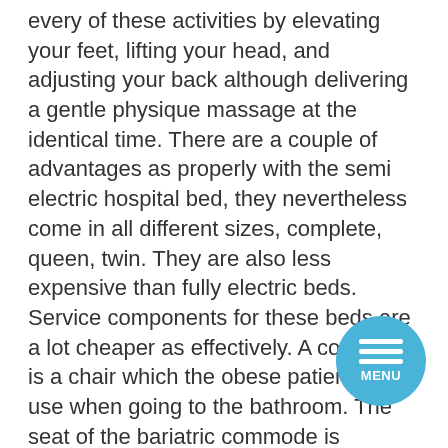every of these activities by elevating your feet, lifting your head, and adjusting your back although delivering a gentle physique massage at the identical time. There are a couple of advantages as properly with the semi electric hospital bed, they nevertheless come in all different sizes, complete, queen, twin. They are also less expensive than fully electric beds. Service components for these beds are a lot cheaper as effectively. A commode is a chair which the obese patient may use when going to the bathroom. The seat of the bariatric commode is typically wider than standard and rests on a strong durable steel frame with an adjustable seat-to-floor height of 18 – 22 inches. Commodes may possibly be utilized either as toilet safety frames or by the bedside of the patient, and are typically sturdy sufficient to stop it from collapsing beneath the patient's weight. The viscous cushion of the commode molds itself into the shape of the particular person sitting in it for added comfort.
[Figure (other): A circular blue menu button with three horizontal white lines and the word MENU below them.]